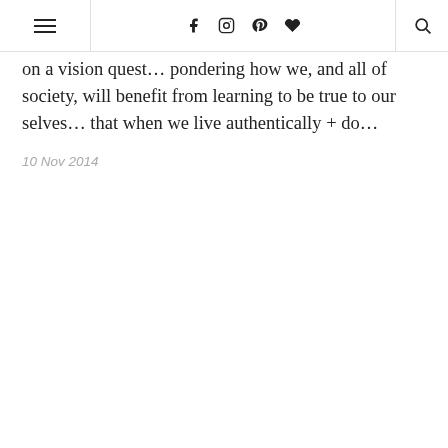≡  f  ⊙  ⊕  ♥  🔍
on a vision quest… pondering how we, and all of society, will benefit from learning to be true to our selves… that when we live authentically + do…
10 Nov 2014